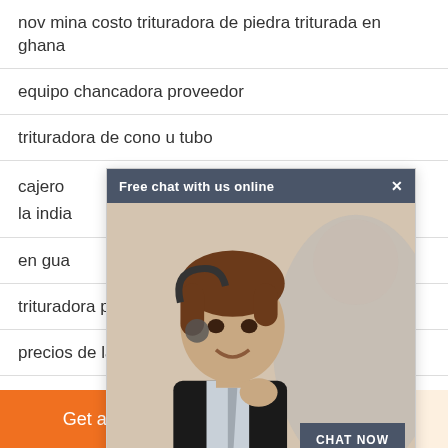nov mina costo trituradora de piedra triturada en ghana
equipo chancadora proveedor
trituradora de cono u tubo
cajero ... a en la india
en gua...
trituradora piedra celaya
precios de la máquina trituradora de
[Figure (screenshot): Chat popup overlay with header 'Free chat with us online', an agent photo, and a 'CHAT NOW' button]
Get a Quote
WhatsApp